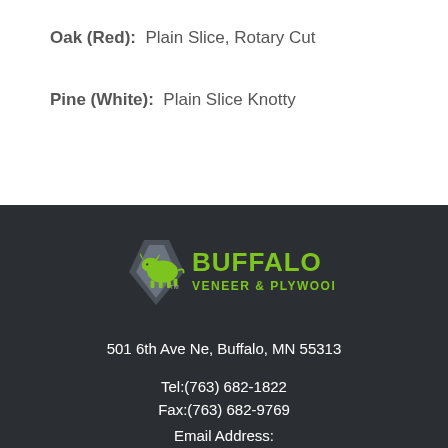Oak (Red): Plain Slice, Rotary Cut
Pine (White): Plain Slice Knotty
[Figure (logo): Buffalo Veneer & Plywood logo with green buffalo and diamond shield icon]
501 6th Ave Ne, Buffalo, MN 55313
Tel:(763) 682-1822
Fax:(763) 682-9769
Email Address: